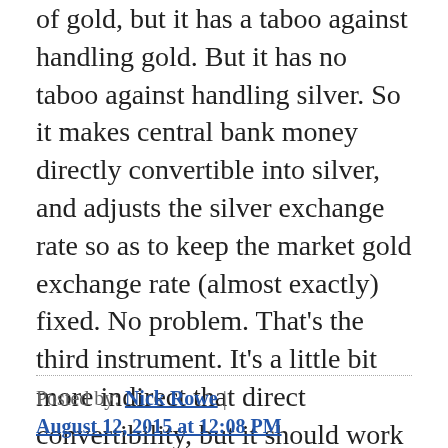of gold, but it has a taboo against handling gold. But it has no taboo against handling silver. So it makes central bank money directly convertible into silver, and adjusts the silver exchange rate so as to keep the market gold exchange rate (almost exactly) fixed. No problem. That's the third instrument. It's a little bit more indirect that direct convertibility, but it should work almost as well. **It is not an interest rate instrument**.
Posted by: Nick Rowe | August 12, 2015 at 12:08 PM